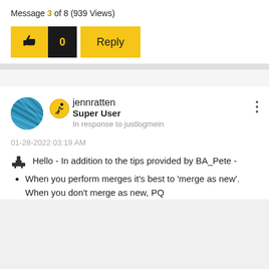Message 3 of 8 (939 Views)
[Figure (screenshot): Like button with thumbs up icon and count 0, plus a Reply button, both in yellow/black colors]
[Figure (photo): User avatar showing blue yarn/thread texture in circular crop, with a yellow circular badge icon (person running) next to username jennratten, Super User, In response to justlogmein]
jennratten
Super User
In response to justlogmein
01-28-2022 03:19 AM
Hello - In addition to the tips provided by BA_Pete -
When you perform merges it's best to 'merge as new'.  When you don't merge as new, PQ